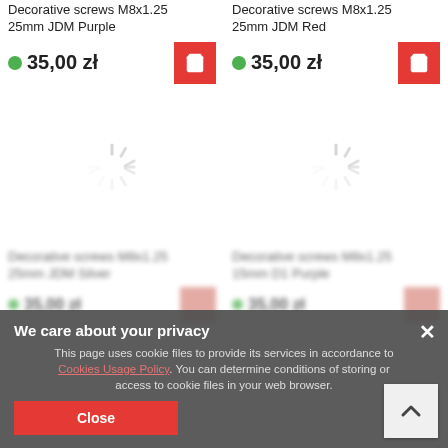Decorative screws M8x1.25 25mm JDM Purple
35,00 zł
Decorative screws M8x1.25 25mm JDM Red
35,00 zł
[Figure (illustration): Loading spinner placeholder for product image]
[Figure (illustration): Loading spinner placeholder for product image]
Decorative screws M8x1.25 25mm JDM Silver
Decorative screws M8x1.25 15mm D1 Purple
We care about your privacy
This page uses cookie files to provide its services in accordance to Cookies Usage Policy. You can determine conditions of storing or access to cookie files in your web browser.
Close